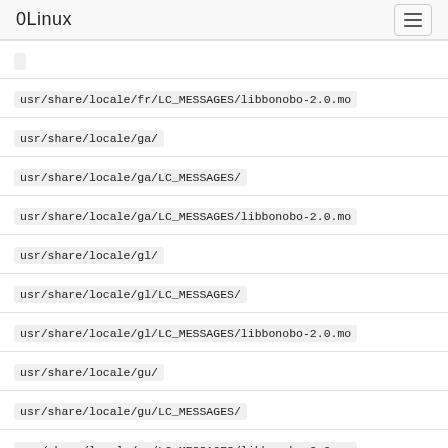0Linux
usr/share/locale/fr/LC_MESSAGES/libbonobo-2.0.mo
usr/share/locale/ga/
usr/share/locale/ga/LC_MESSAGES/
usr/share/locale/ga/LC_MESSAGES/libbonobo-2.0.mo
usr/share/locale/gl/
usr/share/locale/gl/LC_MESSAGES/
usr/share/locale/gl/LC_MESSAGES/libbonobo-2.0.mo
usr/share/locale/gu/
usr/share/locale/gu/LC_MESSAGES/
usr/share/locale/gu/LC_MESSAGES/libbonobo-2.0.mo